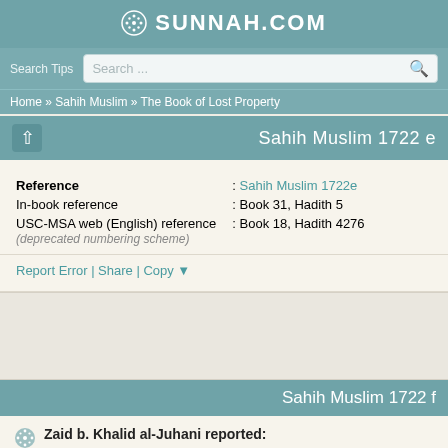SUNNAH.COM
Search Tips  Search ...
Home » Sahih Muslim » The Book of Lost Property
Sahih Muslim 1722 e
| Field | Value |
| --- | --- |
| Reference | Sahih Muslim 1722e |
| In-book reference | Book 31, Hadith 5 |
| USC-MSA web (English) reference (deprecated numbering scheme) | Book 18, Hadith 4276 |
Report Error | Share | Copy ▼
Sahih Muslim 1722 f
Zaid b. Khalid al-Juhani reported: